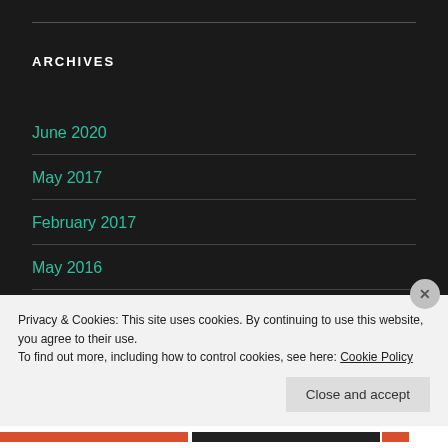ARCHIVES
June 2020
May 2017
February 2017
May 2016
Privacy & Cookies: This site uses cookies. By continuing to use this website, you agree to their use.
To find out more, including how to control cookies, see here: Cookie Policy
Close and accept